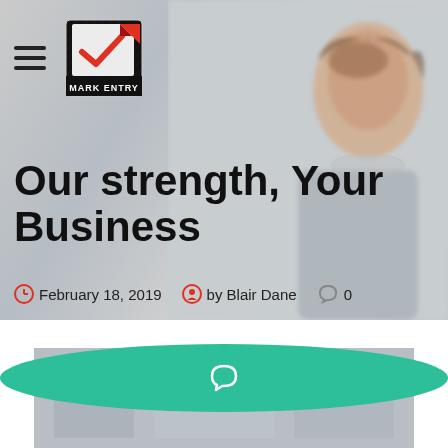[Figure (logo): Mark Entry logo — black square with red checkmark and 'MARK ENTRY' text]
Our strength, Your Business
February 18, 2019   by Blair Dane   0
[Figure (photo): Article thumbnail photo with teal oval overlay containing a speech bubble icon]